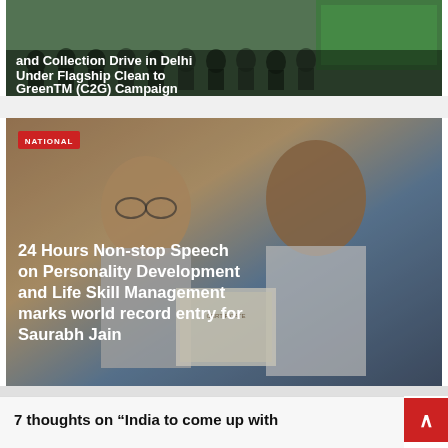[Figure (photo): Group photo of people at a Clean to Green campaign event with a green banner visible in background. White bold text overlay reads: 'and Collection Drive in Delhi Under Flagship Clean to GreenTM (C2G) Campaign']
[Figure (photo): Photo of two men, one holding a certificate/award. Red NATIONAL badge in top left. White bold text overlay reads: '24 Hours Non-stop Speech on Personality Development and Life Skill Management marks world record entry for Saurabh Jain']
7 thoughts on “India to come up with